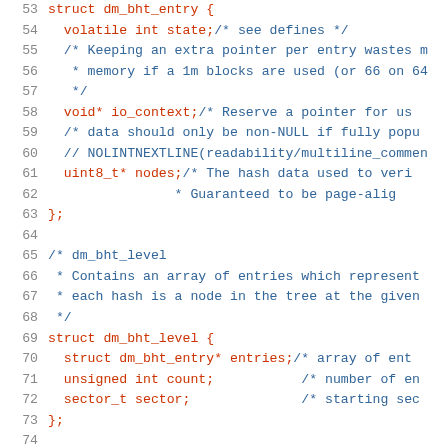[Figure (screenshot): Source code snippet in C showing struct definitions for dm_bht_entry and dm_bht_level, with line numbers 53-74 visible. Code uses monospace font with red for code tokens and blue for comments.]